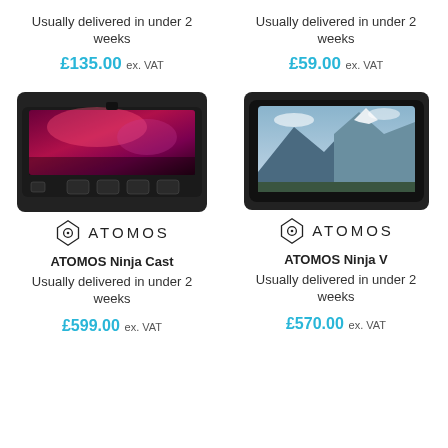Usually delivered in under 2 weeks
£135.00 ex. VAT
Usually delivered in under 2 weeks
£59.00 ex. VAT
[Figure (photo): ATOMOS Ninja Cast device with screen showing a pink/purple concert scene, with control buttons below]
[Figure (logo): ATOMOS brand logo with diamond/hexagon icon and ATOMOS text]
ATOMOS Ninja Cast
Usually delivered in under 2 weeks
£599.00 ex. VAT
[Figure (photo): ATOMOS Ninja V device with screen showing mountain landscape]
[Figure (logo): ATOMOS brand logo with diamond/hexagon icon and ATOMOS text]
ATOMOS Ninja V
Usually delivered in under 2 weeks
£570.00 ex. VAT